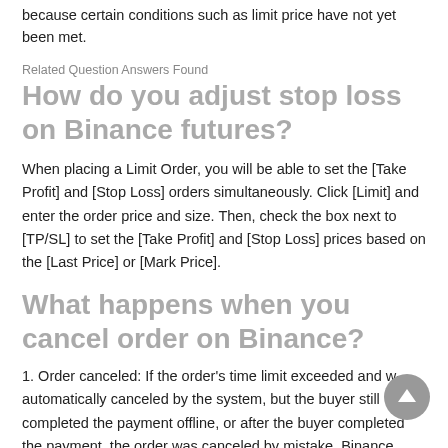because certain conditions such as limit price have not yet been met.
Related Question Answers Found
How do you adjust stop loss on Binance futures?
When placing a Limit Order, you will be able to set the [Take Profit] and [Stop Loss] orders simultaneously. Click [Limit] and enter the order price and size. Then, check the box next to [TP/SL] to set the [Take Profit] and [Stop Loss] prices based on the [Last Price] or [Mark Price].
What happens when you cancel order on Binance?
1. Order canceled: If the order's time limit exceeded and was automatically canceled by the system, but the buyer still completed the payment offline, or after the buyer completed the payment, the order was canceled by mistake, Binance